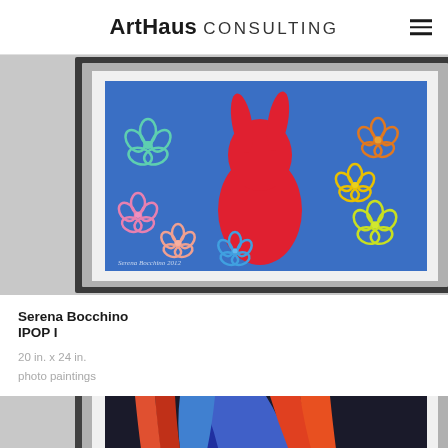ArtHaus CONSULTING
[Figure (photo): Framed artwork showing a red dog/rabbit figure on a blue background with colorful flower outlines, displayed in a silver and black frame]
Serena Bocchino
IPOP I
20 in. x 24 in.
photo paintings
[Figure (photo): Partial view of a second artwork showing abstract curved shapes in red, blue and orange tones]